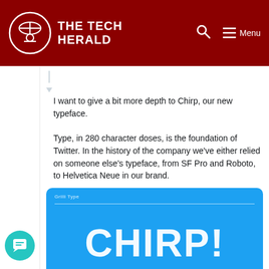THE TECH HERALD
I want to give a bit more depth to Chirp, our new typeface.

Type, in 280 character doses, is the foundation of Twitter. In the history of the company we've either relied on someone else's typeface, from SF Pro and Roboto, to Helvetica Neue in our brand.
[Figure (illustration): Blue banner image with large white bold text reading 'CHIRP!' in Chirp Display Extended Black typeface. Small text at top reads 'Grilli Type' and at bottom right reads 'Chirp Display Extended Black'.]
Twitter Design (verified)